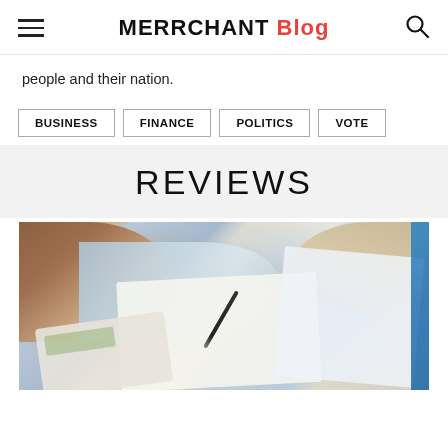MERRCHANT Blog
people and their nation.
BUSINESS
FINANCE
POLITICS
VOTE
REVIEWS
[Figure (photo): People reviewing financial documents at a desk, with hands visible, one person using a calculator and another holding a pen over paperwork, with blue-accented documents visible on the right.]